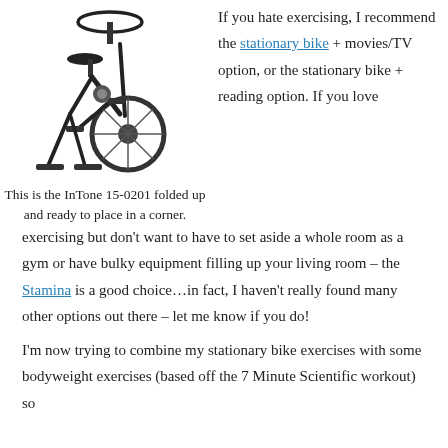[Figure (photo): A stationary exercise bike (InTone 15-0201) shown folded up, in dark/black color, viewed from the side.]
This is the InTone 15-0201 folded up and ready to place in a corner.
If you hate exercising, I recommend the stationary bike + movies/TV option, or the stationary bike + reading option. If you love
exercising but don't want to have to set aside a whole room as a gym or have bulky equipment filling up your living room – the Stamina is a good choice…in fact, I haven't really found many other options out there – let me know if you do!
I'm now trying to combine my stationary bike exercises with some bodyweight exercises (based off the 7 Minute Scientific workout) so